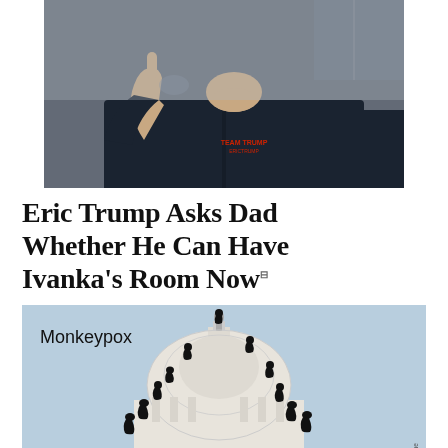[Figure (photo): Man in dark navy 'Team Trump' jacket pointing finger upward, partial face visible, American flag in background]
Eric Trump Asks Dad Whether He Can Have Ivanka's Room Now
The campaign for her room began just moments after her testimony aired on Thursday night.
By Andy Borowitz
[Figure (illustration): Illustration of the US Capitol dome with monkeys climbing over it, light blue sky background, text 'Monkeypox' in upper left. Credit: San Diego Union Tribune.]